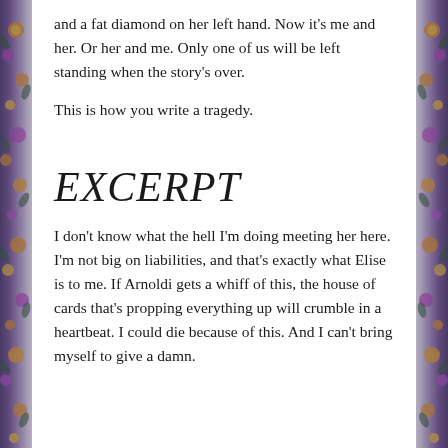and a fat diamond on her left hand. Now it's me and her. Or her and me. Only one of us will be left standing when the story's over.
This is how you write a tragedy.
EXCERPT
I don't know what the hell I'm doing meeting her here. I'm not big on liabilities, and that's exactly what Elise is to me. If Arnoldi gets a whiff of this, the house of cards that's propping everything up will crumble in a heartbeat. I could die because of this. And I can't bring myself to give a damn.